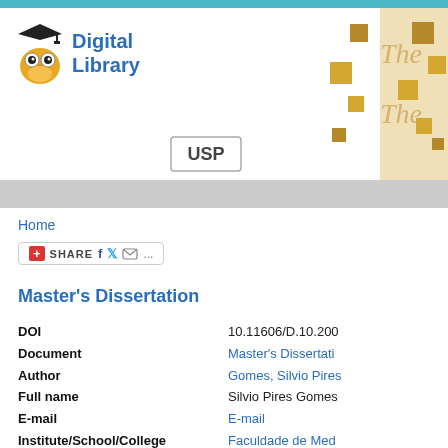[Figure (logo): USP Digital Library logo with owl mascot and 'Digital Library' text in blue, with USP badge]
Home
[Figure (infographic): Share button bar with plus icon, SHARE text, Facebook, Twitter, email icons]
Master's Dissertation
| Field | Value |
| --- | --- |
| DOI | 10.11606/D.10.200... |
| Document | Master's Dissertati... |
| Author | Gomes, Silvio Pires... |
| Full name | Silvio Pires Gomes... |
| E-mail | E-mail |
| Institute/School/College | Faculdade de Med... |
| Knowledge Area | Anatomy of Domes... |
| Date of Defense | 2006-12-14 |